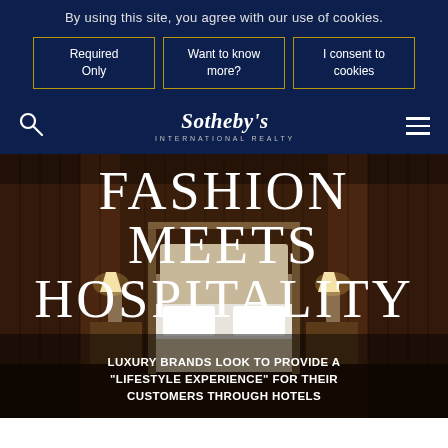By using this site, you agree with our use of cookies.
Required Only
Want to know more?
I consent to cookies
Sotheby's INTERNATIONAL REALTY
[Figure (photo): Luxury hotel bedroom with wood-paneled walls, four-poster bed with white linens, flanked by nightstands with lamps. Warm ambient lighting throughout.]
FASHION MEETS HOSPITALITY
LUXURY BRANDS LOOK TO PROVIDE A "LIFESTYLE EXPERIENCE" FOR THEIR CUSTOMERS THROUGH HOTELS